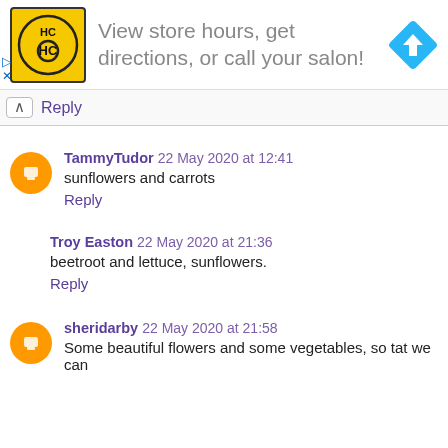[Figure (infographic): Advertisement banner: HC logo (yellow square with black HC letters), text 'View store hours, get directions, or call your salon!', blue diamond navigation arrow icon. Small ad controls (play arrow and X) on left side.]
Reply
TammyTudor 22 May 2020 at 12:41
sunflowers and carrots
Reply
Troy Easton 22 May 2020 at 21:36
beetroot and lettuce, sunflowers.
Reply
sheridarby 22 May 2020 at 21:58
Some beautiful flowers and some vegetables, so tat we can